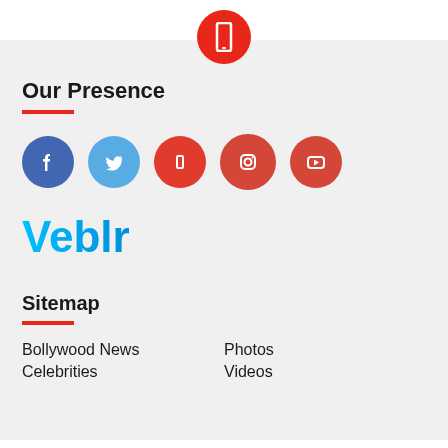[Figure (logo): Red circle with white smartphone icon (pause-like shape) at top center]
Our Presence
[Figure (infographic): Row of 5 social media icons: Facebook (blue), Twitter (light blue), Pinterest (red-orange), Instagram (dark red), YouTube (dark red)]
[Figure (logo): Veblr logo in cyan/blue gradient text]
Sitemap
Bollywood News
Photos
Celebrities
Videos